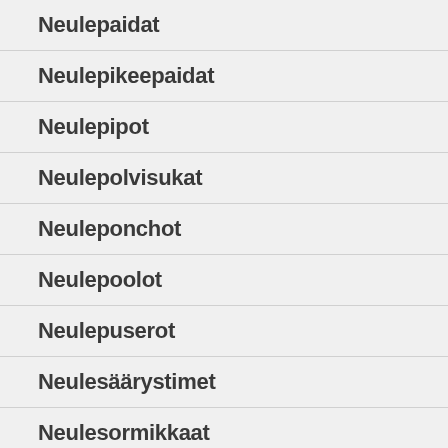Neulepaidat
Neulepikeepaidat
Neulepipot
Neulepolvisukat
Neuleponchot
Neulepoolot
Neulepuserot
Neulesäärystimet
Neulesormikkaat